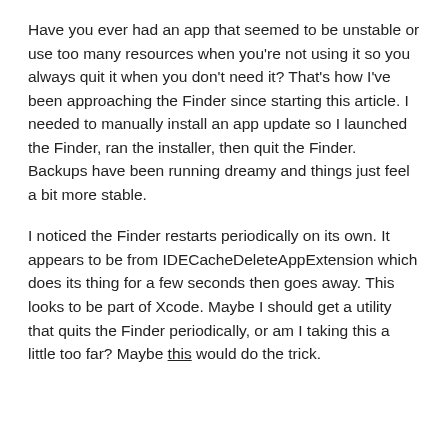Have you ever had an app that seemed to be unstable or use too many resources when you're not using it so you always quit it when you don't need it? That's how I've been approaching the Finder since starting this article. I needed to manually install an app update so I launched the Finder, ran the installer, then quit the Finder. Backups have been running dreamy and things just feel a bit more stable.
I noticed the Finder restarts periodically on its own. It appears to be from IDECacheDeleteAppExtension which does its thing for a few seconds then goes away. This looks to be part of Xcode. Maybe I should get a utility that quits the Finder periodically, or am I taking this a little too far? Maybe this would do the trick.